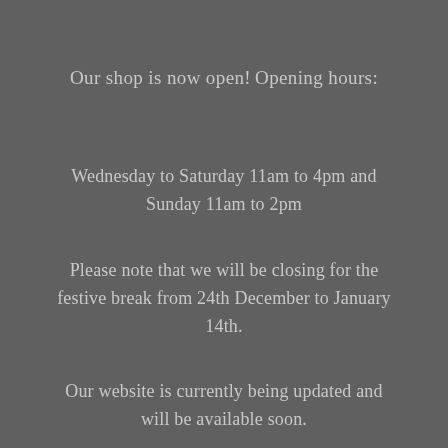Our shop is now open!
Opening hours:
Wednesday to Saturday 11am to 4pm and Sunday 11am to 2pm
Please note that we will be closing for the festive break from 24th December to January 14th.
Our website is currently being updated and will be available soon.